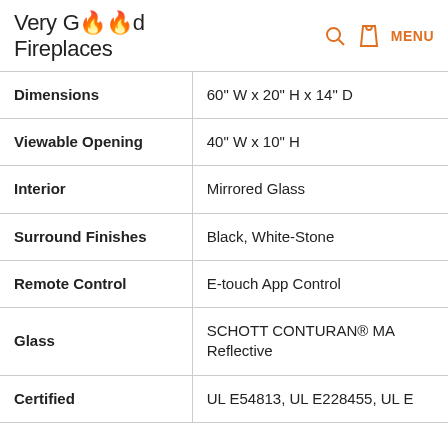[Figure (logo): Very Good Fireplaces logo with flame icons, search icon, bag icon, and MENU text]
| Dimensions | 60" W x 20" H x 14" D |
| Viewable Opening | 40" W x 10" H |
| Interior | Mirrored Glass |
| Surround Finishes | Black, White-Stone |
| Remote Control | E-touch App Control |
| Glass | SCHOTT CONTURAN® MAG Reflective |
| Certified | UL E54813, UL E228455, UL E… |